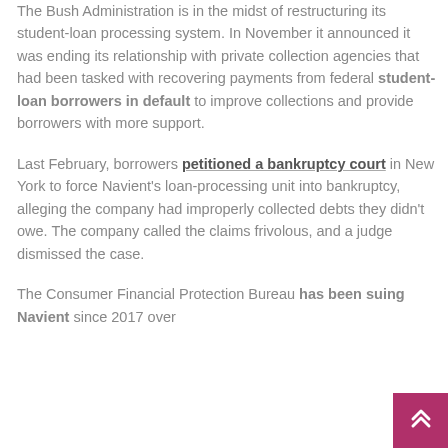The Bush Administration is in the midst of restructuring its student-loan processing system. In November it announced it was ending its relationship with private collection agencies that had been tasked with recovering payments from federal student-loan borrowers in default to improve collections and provide borrowers with more support.

Last February, borrowers petitioned a bankruptcy court in New York to force Navient's loan-processing unit into bankruptcy, alleging the company had improperly collected debts they didn't owe. The company called the claims frivolous, and a judge dismissed the case.

The Consumer Financial Protection Bureau has been suing Navient since 2017 over